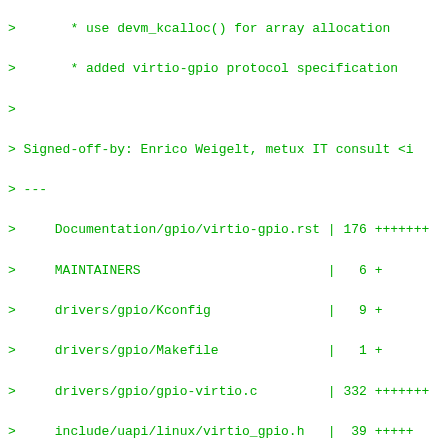>       * use devm_kcalloc() for array allocation
>
>       * added virtio-gpio protocol specification
>
> Signed-off-by: Enrico Weigelt, metux IT consult <in
> ---
>
>     Documentation/gpio/virtio-gpio.rst | 176 +++++++
>
>     MAINTAINERS                        |   6 +
>
>     drivers/gpio/Kconfig               |   9 +
>
>     drivers/gpio/Makefile              |   1 +
>
>     drivers/gpio/gpio-virtio.c         | 332 +++++++
>
>     include/uapi/linux/virtio_gpio.h   |  39 +++++
>
>     include/uapi/linux/virtio_ids.h    |   1 +
>
> 7 files changed, 564 insertions(+)
>
>  create mode 100644 Documentation/gpio/virtio-gpio
>
>  create mode 100644 drivers/gpio/gpio-virtio.c
>
>  create mode 100644 include/uapi/linux/virtio_gpio